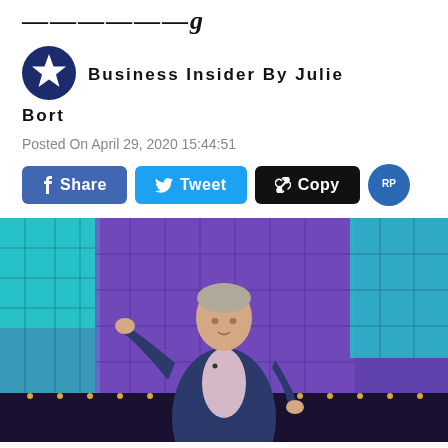...——y
Business Insider By Julie Bort
Posted On April 29, 2020 15:44:51
Share  Tweet  Copy
[Figure (photo): Man in blue blazer speaking on stage with colorful purple and teal grid background lighting, gesturing with one hand raised]